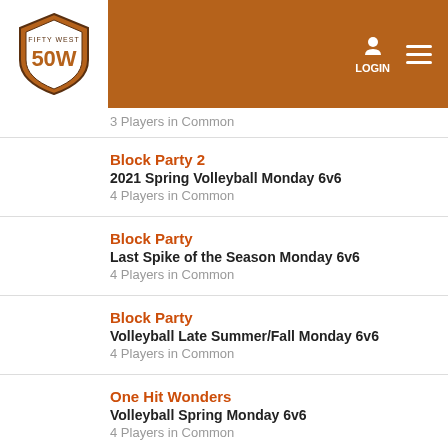Fifty West 50W — LOGIN
3 Players in Common
Block Party 2 | 2021 Spring Volleyball Monday 6v6 | 4 Players in Common
Block Party | Last Spike of the Season Monday 6v6 | 4 Players in Common
Block Party | Volleyball Late Summer/Fall Monday 6v6 | 4 Players in Common
One Hit Wonders | Volleyball Spring Monday 6v6 | 4 Players in Common
One Hit Wonders | Fall Monday 6v6 | 3 Players in Common